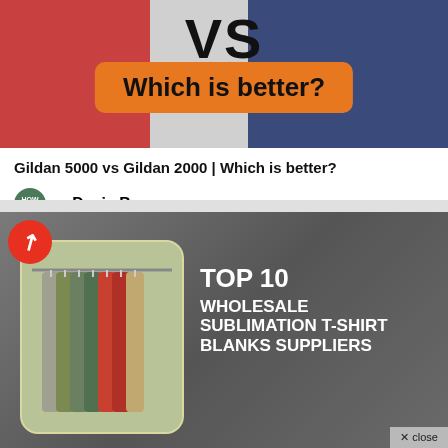[Figure (illustration): Two people wearing t-shirts (red on left, navy on right) with large 'VS' text overhead and an orange badge reading 'Which is better?']
Gildan 5000 vs Gildan 2000 | Which is better?
by Davis Brown
[Figure (illustration): Dark grey blurred background with a trending badge (red circle with white upward arrow), a photo of colorful t-shirts on hangers, and bold white text reading 'TOP 10 WHOLESALE SUBLIMATION T-SHIRT BLANKS SUPPLIERS']
× close